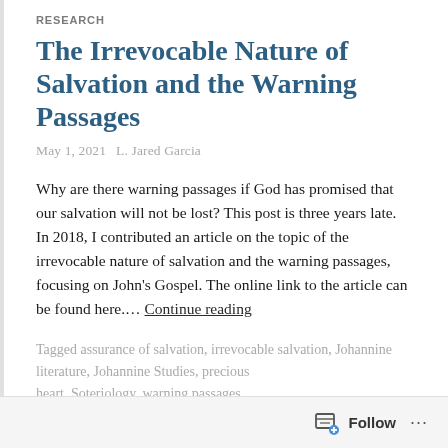RESEARCH
The Irrevocable Nature of Salvation and the Warning Passages
May 1, 2021   L. Jared Garcia
Why are there warning passages if God has promised that our salvation will not be lost? This post is three years late. In 2018, I contributed an article on the topic of the irrevocable nature of salvation and the warning passages, focusing on John's Gospel. The online link to the article can be found here.... Continue reading
Tagged assurance of salvation, irrevocable salvation, Johannine literature, Johannine Studies, precious heart, Soteriology, warning passages